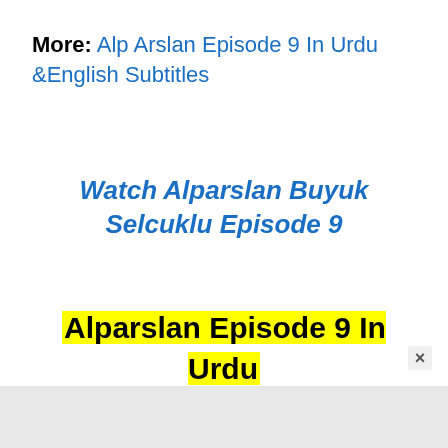More: Alp Arslan Episode 9 In Urdu &English Subtitles
Watch Alparslan Buyuk Selcuklu Episode 9
Alparslan Episode 9 In Urdu Subtitles